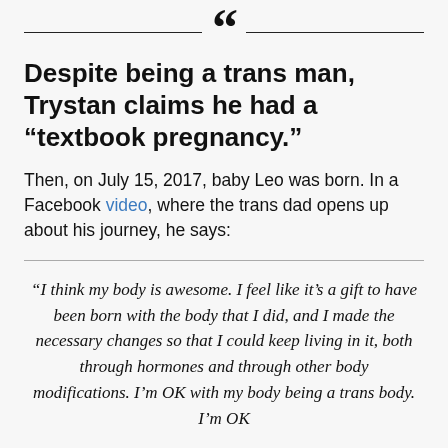Despite being a trans man, Trystan claims he had a “textbook pregnancy.”
Then, on July 15, 2017, baby Leo was born. In a Facebook video, where the trans dad opens up about his journey, he says:
“I think my body is awesome. I feel like it’s a gift to have been born with the body that I did, and I made the necessary changes so that I could keep living in it, both through hormones and through other body modifications. I’m OK with my body being a trans body. I’m OK